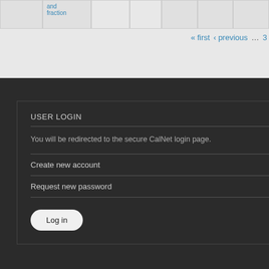|  | and fraction |  |  |  |  |  |
| --- | --- | --- | --- | --- | --- | --- |
|  |
« first ‹ previous … 3 4
USER LOGIN
You will be redirected to the secure CalNet login page.
Create new account
Request new password
Log in